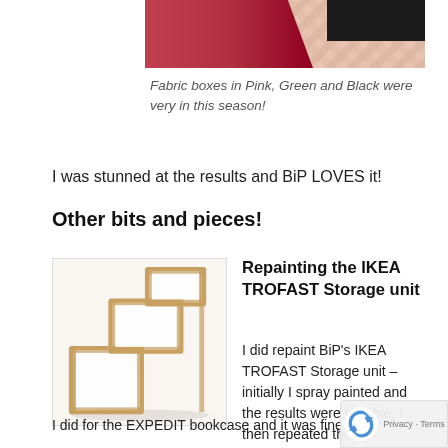[Figure (photo): Top portion of an IKEA fabric storage box display showing pink/red boxes with dark interior on a patterned floor]
Fabric boxes in Pink, Green and Black were very in this season!
I was stunned at the results and BiP LOVES it!
Other bits and pieces!
[Figure (photo): IKEA TROFAST storage unit in natural pine wood, stepped shelving unit with open compartments]
Repainting the IKEA TROFAST Storage unit
I did repaint BiP’s IKEA TROFAST Storage unit – initially I spray painted and the results were horrible. I then repeated the
I did for the EXPEDIT bookcase and it was fine.